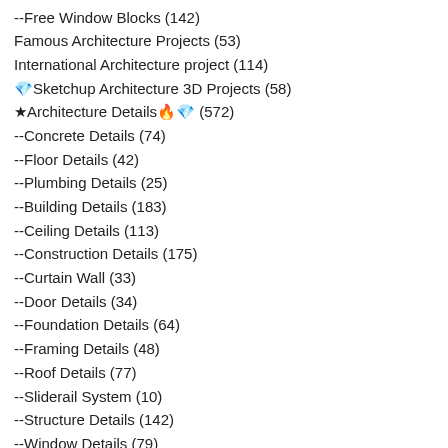--Free Window Blocks (142)
Famous Architecture Projects (53)
International Architecture project (114)
💎Sketchup Architecture 3D Projects (58)
★Architecture Details🔥💎 (572)
--Concrete Details (74)
--Floor Details (42)
--Plumbing Details (25)
--Building Details (183)
--Ceiling Details (113)
--Construction Details (175)
--Curtain Wall (33)
--Door Details (34)
--Foundation Details (64)
--Framing Details (48)
--Roof Details (77)
--Sliderail System (10)
--Structure Details (142)
--Window Details (79)
--Wood Constructure Detail (41)